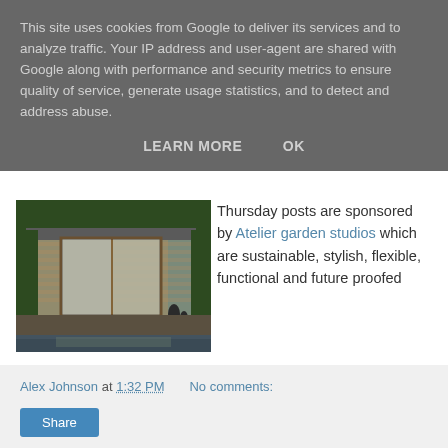This site uses cookies from Google to deliver its services and to analyze traffic. Your IP address and user-agent are shared with Google along with performance and security metrics to ensure quality of service, generate usage statistics, and to detect and address abuse.
LEARN MORE   OK
[Figure (photo): Photo of a modern garden studio building with large sliding glass doors, flat roof, and surrounding garden/water feature]
Thursday posts are sponsored by Atelier garden studios which are sustainable, stylish, flexible, functional and future proofed
Alex Johnson at 1:32 PM   No comments:
Share